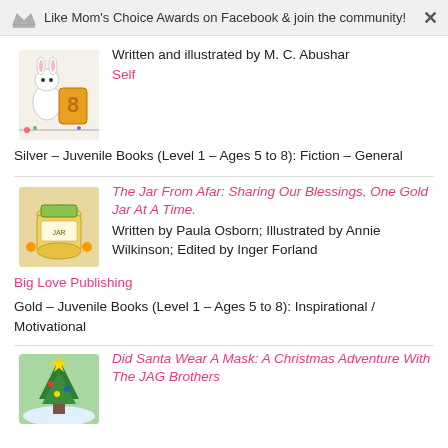Like Mom's Choice Awards on Facebook & join the community!
[Figure (illustration): Cover of a children's book featuring a cartoon rabbit and schoolbag]
Written and illustrated by M. C. Abushar
Self
Silver – Juvenile Books (Level 1 – Ages 5 to 8): Fiction – General
[Figure (illustration): Cover of The Jar From Afar: Sharing Our Blessings, One Gold Jar At A Time]
The Jar From Afar: Sharing Our Blessings, One Gold Jar At A Time.
Written by Paula Osborn; Illustrated by Annie Wilkinson; Edited by Inger Forland
Big Love Publishing
Gold – Juvenile Books (Level 1 – Ages 5 to 8): Inspirational / Motivational
[Figure (illustration): Cover of Did Santa Wear A Mask: A Christmas Adventure With The JAG Brothers]
Did Santa Wear A Mask: A Christmas Adventure With The JAG Brothers